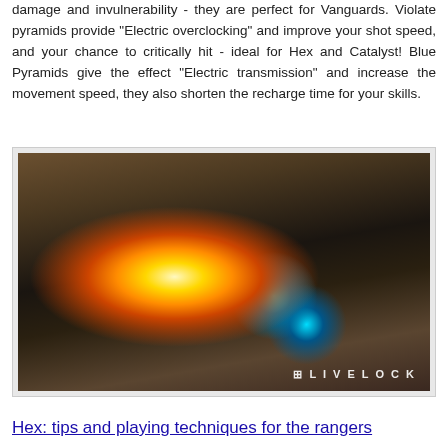damage and invulnerability - they are perfect for Vanguards. Violate pyramids provide "Electric overclocking" and improve your shot speed, and your chance to critically hit - ideal for Hex and Catalyst! Blue Pyramids give the effect "Electric transmission" and increase the movement speed, they also shorten the recharge time for your skills.
[Figure (screenshot): Screenshot from the video game Livelock showing an isometric top-down view of combat with bright explosion effects, energy beams, and characters fighting in a ruined environment.]
Hex: tips and playing techniques for the rangers